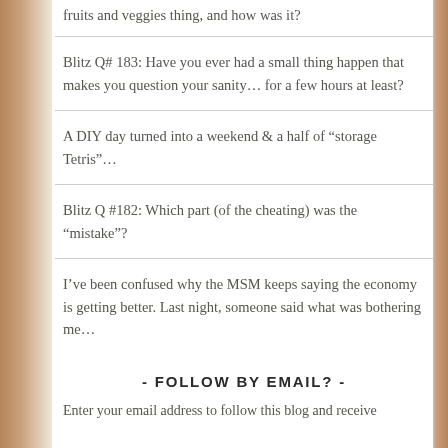fruits and veggies thing, and how was it?
Blitz Q# 183: Have you ever had a small thing happen that makes you question your sanity… for a few hours at least?
A DIY day turned into a weekend & a half of “storage Tetris”…
Blitz Q #182: Which part (of the cheating) was the “mistake”?
I’ve been confused why the MSM keeps saying the economy is getting better. Last night, someone said what was bothering me…
- FOLLOW BY EMAIL? -
Enter your email address to follow this blog and receive